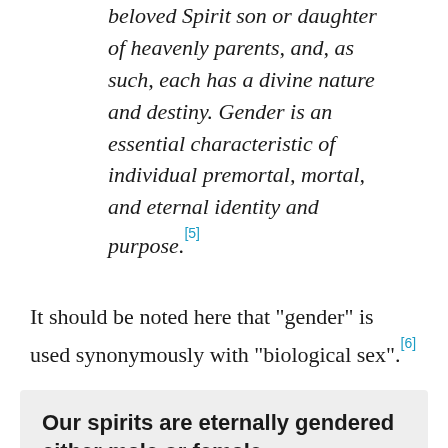beloved Spirit son or daughter of heavenly parents, and, as such, each has a divine nature and destiny. Gender is an essential characteristic of individual premortal, mortal, and eternal identity and purpose.[5]
It should be noted here that "gender" is used synonymously with "biological sex".[6]
Our spirits are eternally gendered either male or female
One immediate point to make is that, according to the Family Proclamation above and the Doctrine